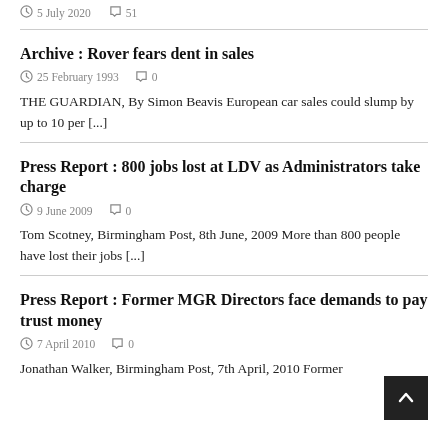5 July 2020   51
Archive : Rover fears dent in sales
25 February 1993   0
THE GUARDIAN, By Simon Beavis European car sales could slump by up to 10 per [...]
Press Report : 800 jobs lost at LDV as Administrators take charge
9 June 2009   0
Tom Scotney, Birmingham Post, 8th June, 2009 More than 800 people have lost their jobs [...]
Press Report : Former MGR Directors face demands to pay trust money
7 April 2010   0
Jonathan Walker, Birmingham Post, 7th April, 2010 Former